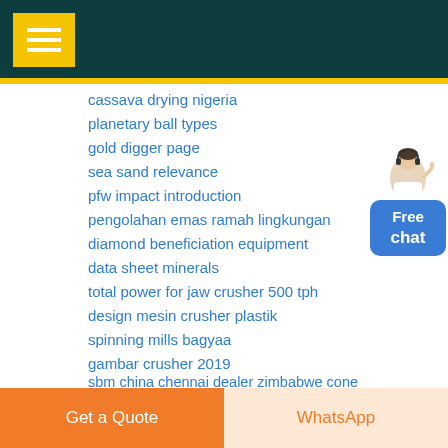cassava drying nigeria
planetary ball types
gold digger page
sea sand relevance
pfw impact introduction
pengolahan emas ramah lingkungan
diamond beneficiation equipment
data sheet minerals
total power for jaw crusher 500 tph
design mesin crusher plastik
spinning mills bagyaa
gambar crusher 2019
sbm china chennai dealer zimbabwe cone crusher
sand making chain
bearing of ball mill of uzbekistan supplier
Get a Quote | WhatsApp